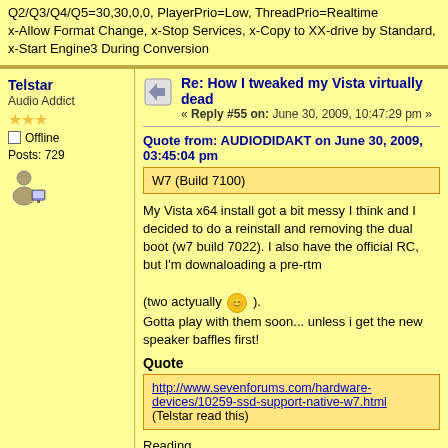Q2/Q3/Q4/Q5=30,30,0,0, PlayerPrio=Low, ThreadPrio=Realtime x-Allow Format Change, x-Stop Services, x-Copy to XX-drive by Standard, x-Start Engine3 During Conversion
Re: How I tweaked my Vista virtually dead
« Reply #55 on: June 30, 2009, 10:47:29 pm »
Quote from: AUDIODIDAKT on June 30, 2009, 03:45:04 pm
W7 (Build 7100)
My Vista x64 install got a bit messy I think and I decided to do a reinstall and removing the dual boot (w7 build 7022). I also have the official RC, but I'm downaloading a pre-rtm

(two actyually 😊 ).
Gotta play with them soon... unless i get the new speaker baffles first!
Quote
http://www.sevenforums.com/hardware-devices/10259-ssd-support-native-w7.html (Telstar read this)
Reading...
Logged